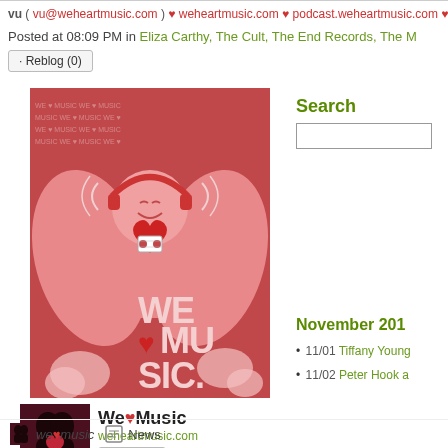vu ( vu@weheartmusic.com ) ♥ weheartmusic.com ♥ podcast.weheartmusic.com ♥ twit
Posted at 08:09 PM in Eliza Carthy, The Cult, The End Records, The M
Reblog (0)
[Figure (illustration): We Heart Music illustrated poster: a cartoon character with headphones, a cassette tape in a heart shape on its chest, surrounded by the text WE ♥ MUSIC on a red background with hearts and music text pattern]
[Figure (logo): We♥Music tumblr card with dark avatar showing two silhouettes kissing, text 'We♥Music' and 'weheartmusic.com' with Follow button]
Search
November 201
11/01 Tiffany Young
11/02 Peter Hook a
we♥music   News